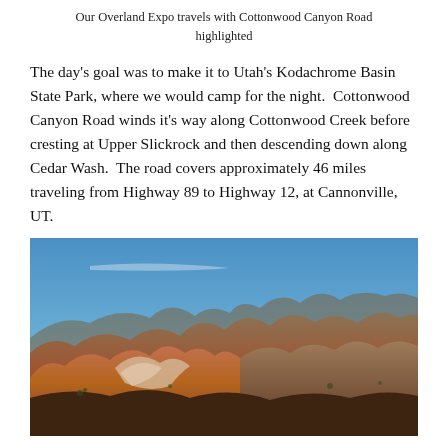Our Overland Expo travels with Cottonwood Canyon Road highlighted
The day's goal was to make it to Utah's Kodachrome Basin State Park, where we would camp for the night.  Cottonwood Canyon Road winds it's way along Cottonwood Creek before cresting at Upper Slickrock and then descending down along Cedar Wash.  The road covers approximately 46 miles traveling from Highway 89 to Highway 12, at Cannonville, UT.
[Figure (photo): Photograph of rugged canyon landscape with red and orange rock formations under a clear blue sky, taken along Cottonwood Canyon Road area.]